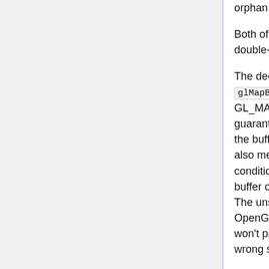orphan the buffer and allocate a new one.
Both of these can give the effect of double-buffering.
The deepest of the deep magic comes in glMapBufferRange with GL_MAP_UNSYNCHRONIZED_BIT. This guarantees that you will never halt due to the buffer being in use. Unfortunately, it also means that you can get a race condition, where you are updating a buffer object while it is being read from. The unsyncrhonized flag will prevent OpenGL from trying to stop this, but it won't prevent OpenGL from rendering wrong stuff when it does happen.
To prevent it on your end, you can use the ARB_sync core extension (core in version 3.2). This allows you to ask